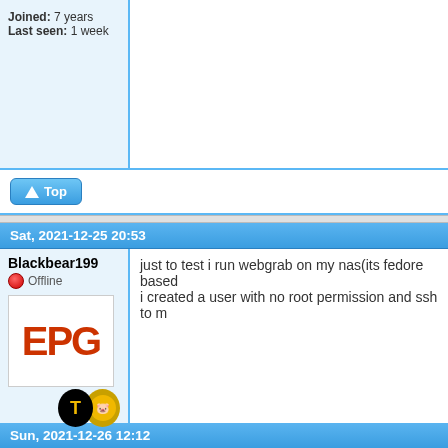Joined: 7 years
Last seen: 1 week
Top
Sat, 2021-12-25 20:53
Blackkbear199
Offline
Joined: 7 years
Last seen: 1 week
just to test i run webgrab on my nas(its fedore based...
i created a user with no root permission and ssh to m...
Top
Sun, 2021-12-26 12:12